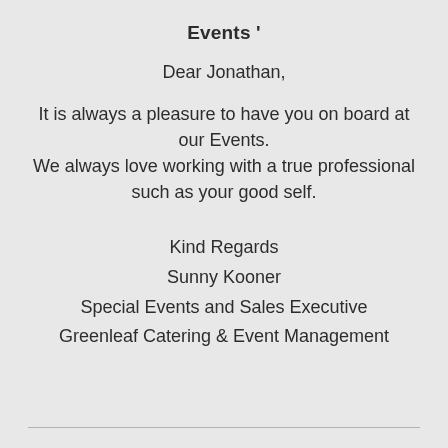Events '
Dear Jonathan,
It is always a pleasure to have you on board at our Events.
We always love working with a true professional such as your good self.
Kind Regards
Sunny Kooner
Special Events and Sales Executive
Greenleaf Catering & Event Management